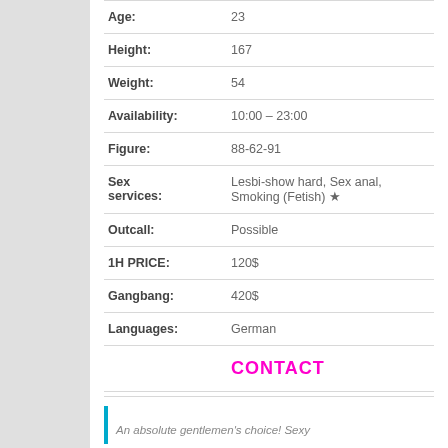| Field | Value |
| --- | --- |
| Age: | 23 |
| Height: | 167 |
| Weight: | 54 |
| Availability: | 10:00 – 23:00 |
| Figure: | 88-62-91 |
| Sex services: | Lesbi-show hard, Sex anal, Smoking (Fetish) ★ |
| Outcall: | Possible |
| 1H PRICE: | 120$ |
| Gangbang: | 420$ |
| Languages: | German |
CONTACT
An absolute gentlemen's choice! Sexy